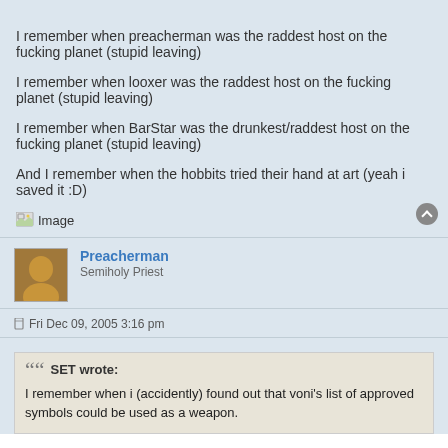I remember when preacherman was the raddest host on the fucking planet (stupid leaving)
I remember when looxer was the raddest host on the fucking planet (stupid leaving)
I remember when BarStar was the drunkest/raddest host on the fucking planet (stupid leaving)
And I remember when the hobbits tried their hand at art (yeah i saved it :D)
[Image]
Preacherman
Semiholy Priest
Fri Dec 09, 2005 3:16 pm
SET wrote:
I remember when i (accidently) found out that voni's list of approved symbols could be used as a weapon.